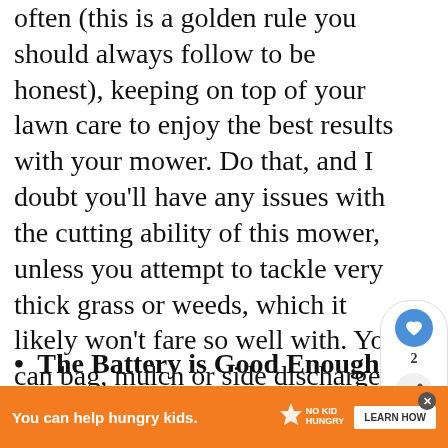often (this is a golden rule you should always follow to be honest), keeping on top of your lawn care to enjoy the best results with your mower. Do that, and I doubt you'll have any issues with the cutting ability of this mower, unless you attempt to tackle very thick grass or weeds, which it likely won't fare so well with. You can bag, mulch or side discharge your clippings, so you have the full range of options available.
The Battery is Good Enough
[Figure (screenshot): Social media widget with heart/like button showing count of 2 and a share button]
[Figure (screenshot): What's Next widget showing Greenworks Lawn Mower with small meditation figure icon]
[Figure (infographic): Orange advertisement bar: 'You can help hungry kids.' with No Kid Hungry logo and Learn How button]